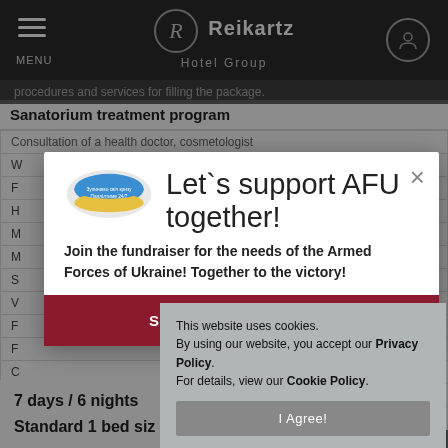Reikartz Hotel Group
procedures and services for filling the package.
Sanatorium treatment program
|  |
| --- |
| Consultation of a health doctor, cosmetologist |
| W |
| F |
| H |
| M |
| M |
| S |
| V |
| F |
| F |
| C |
| M |
| C |
7 days / 6 nights
Standard 1 bed siz
[Figure (infographic): Modal popup with Ukrainian flag logo, text 'Let`s support AFU together! Join the fundraiser for the needs of the Armed Forces of Ukraine! Together to the victory!' and a dark red 'SUPPORT AFU HERE' button]
Let`s support AFU together!
Join the fundraiser for the needs of the Armed Forces of Ukraine! Together to the victory!
SUPPORT AFU HERE
This website uses cookies. By using our website, you accept our Privacy Policy. For details, view our Cookie Policy.
I Agree!